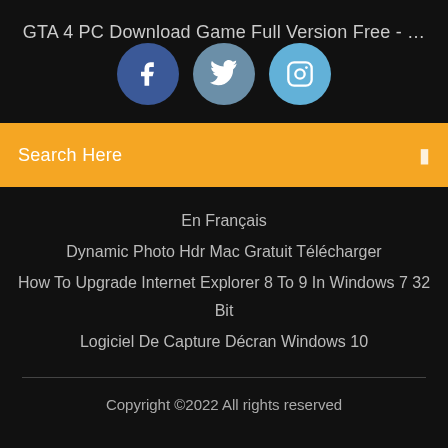GTA 4 PC Download Game Full Version Free - …
[Figure (illustration): Three social media icon circles: Facebook (dark blue), Twitter (steel blue), Instagram (light blue)]
Search Here
En Français
Dynamic Photo Hdr Mac Gratuit Télécharger
How To Upgrade Internet Explorer 8 To 9 In Windows 7 32 Bit
Logiciel De Capture Décran Windows 10
Copyright ©2022 All rights reserved